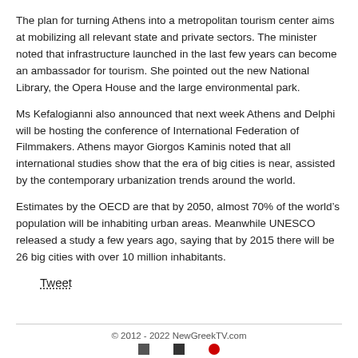The plan for turning Athens into a metropolitan tourism center aims at mobilizing all relevant state and private sectors. The minister noted that infrastructure launched in the last few years can become an ambassador for tourism. She pointed out the new National Library, the Opera House and the large environmental park.
Ms Kefalogianni also announced that next week Athens and Delphi will be hosting the conference of International Federation of Filmmakers. Athens mayor Giorgos Kaminis noted that all international studies show that the era of big cities is near, assisted by the contemporary urbanization trends around the world.
Estimates by the OECD are that by 2050, almost 70% of the world’s population will be inhabiting urban areas. Meanwhile UNESCO released a study a few years ago, saying that by 2015 there will be 26 big cities with over 10 million inhabitants.
Tweet
© 2012 - 2022 NewGreekTV.com